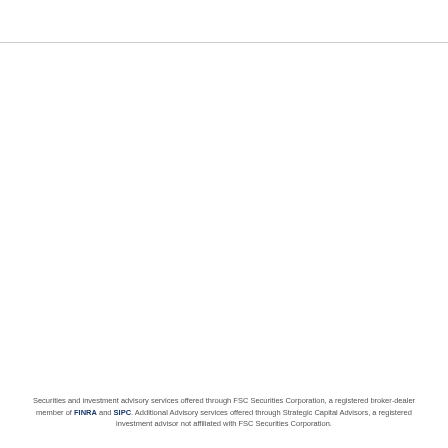Securities and investment advisory services offered through FSC Securities Corporation, a registered broker-dealer member of FINRA and SIPC. Additional Advisory services offered through Strategic Capital Advisors, a registered investment advisor not affiliated with FSC Securities Corporation.